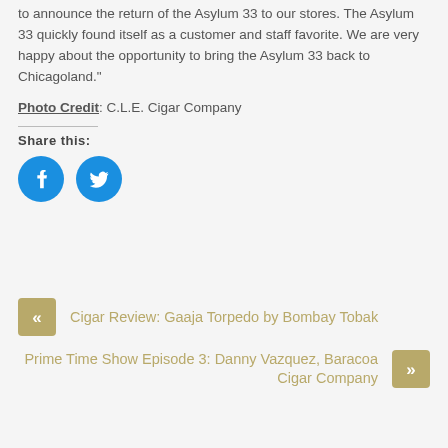to announce the return of the Asylum 33 to our stores. The Asylum 33 quickly found itself as a customer and staff favorite. We are very happy about the opportunity to bring the Asylum 33 back to Chicagoland.”
Photo Credit: C.L.E. Cigar Company
Share this:
[Figure (illustration): Facebook and Twitter social share icon buttons (blue circles with white icons)]
« Cigar Review: Gaaja Torpedo by Bombay Tobak
Prime Time Show Episode 3: Danny Vazquez, Baracoa Cigar Company »